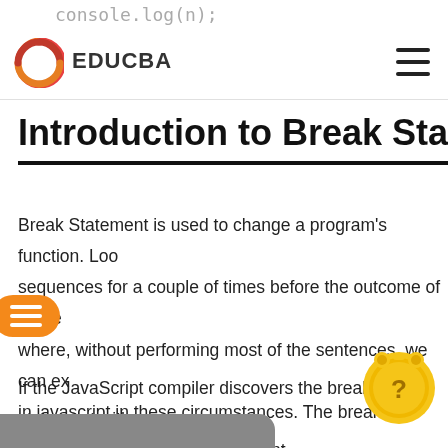console.log(n);
[Figure (logo): EDUCBA logo with play button icon and hamburger menu]
Introduction to Break Statement
Break Statement is used to change a program's function. Loop sequences for a couple of times before the outcome of the test where, without performing most of the sentences, we can exit in javascript in these circumstances. The break statement is used in the switch block. Within the mentioned label, the break statement can be the marked statement; a loop statement do...
If the JavaScript compiler discovers the break statement with do-while loop, the loop will prevent performing elements...